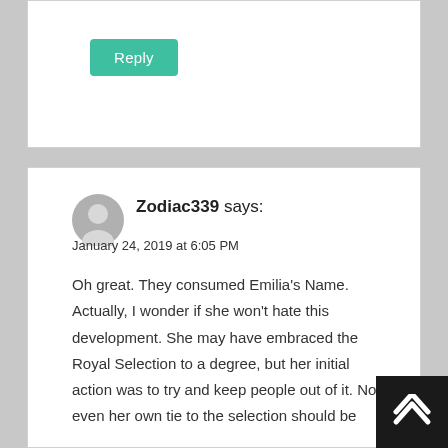Reply
3.
Zodiac339 says:
January 24, 2019 at 6:05 PM
Oh great. They consumed Emilia's Name. Actually, I wonder if she won't hate this development. She may have embraced the Royal Selection to a degree, but her initial action was to try and keep people out of it. Now even her own tie to the selection should be erased.